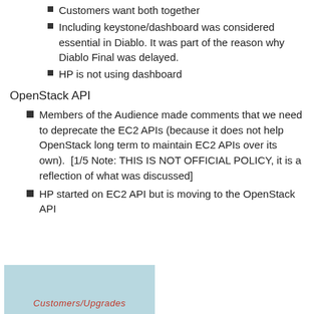Customers want both together
Including keystone/dashboard was considered essential in Diablo. It was part of the reason why Diablo Final was delayed.
HP is not using dashboard
OpenStack API
Members of the Audience made comments that we need to deprecate the EC2 APIs (because it does not help OpenStack long term to maintain EC2 APIs over its own).  [1/5 Note: THIS IS NOT OFFICIAL POLICY, it is a reflection of what was discussed]
HP started on EC2 API but is moving to the OpenStack API
[Figure (photo): Handwritten text on light blue background reading 'Customers/Upgrades']